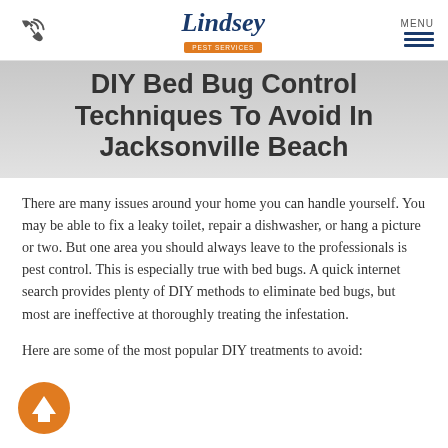Lindsey Pest Services — MENU
DIY Bed Bug Control Techniques To Avoid In Jacksonville Beach
There are many issues around your home you can handle yourself. You may be able to fix a leaky toilet, repair a dishwasher, or hang a picture or two. But one area you should always leave to the professionals is pest control. This is especially true with bed bugs. A quick internet search provides plenty of DIY methods to eliminate bed bugs, but most are ineffective at thoroughly treating the infestation.
Here are some of the most popular DIY treatments to avoid: